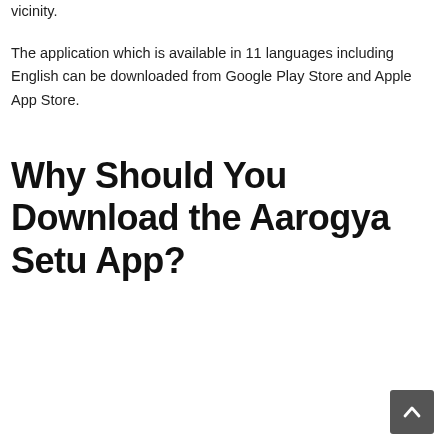vicinity.
The application which is available in 11 languages including English can be downloaded from Google Play Store and Apple App Store.
Why Should You Download the Aarogya Setu App?